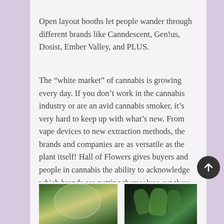Open layout booths let people wander through different brands like Canndescent, Gen!us, Dosist, Ember Valley, and PLUS.
The “white market” of cannabis is growing every day. If you don’t work in the cannabis industry or are an avid cannabis smoker, it’s very hard to keep up with what’s new. From vape devices to new extraction methods, the brands and companies are as versatile as the plant itself! Hall of Flowers gives buyers and people in cannabis the ability to acknowledge which brands are putting themselves out there and which values match theirs.
[Figure (photo): Two side-by-side photos at the bottom of the page: left shows a glass globe/terrarium with green plants visible, right shows green succulent/air plants against a dark background.]